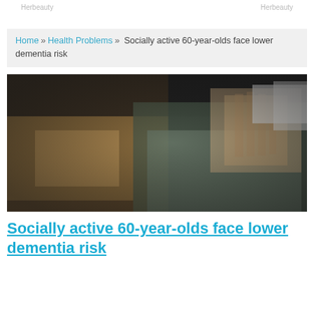Herbeauty    Herbeauty
Home » Health Problems » Socially active 60-year-olds face lower dementia risk
[Figure (photo): Elderly man with white hair and a grey jacket, head bowed with hand covering face in distress, against a blurred dark background.]
Socially active 60-year-olds face lower dementia risk